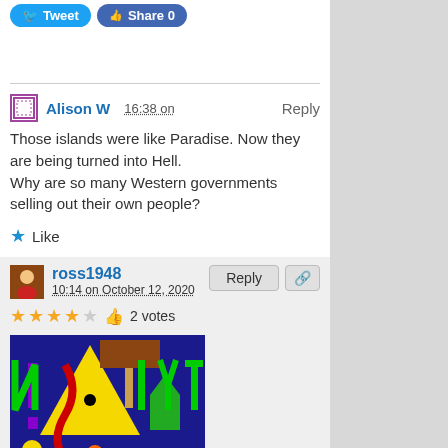Tweet | Share 0
Alison W  16:38 on  Reply
Those islands were like Paradise. Now they are being turned into Hell.
Why are so many Western governments selling out their own people?
★ Like
ross1948  10:14 on October 12, 2020  Reply  [link icon]
★★★★☆ 👍 2 votes
"Our goal is to have a stable network of accommodation resources in the Canary